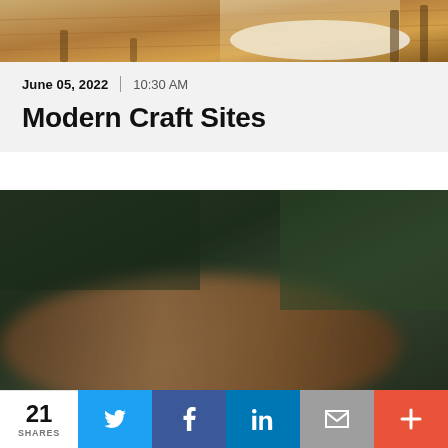[Figure (photo): Partial interior room photo showing wooden floor and a white rug with warm sunlight — cropped at top]
June 05, 2022  |  10:30 AM
Modern Craft Sites
[Figure (photo): Blurred interior photo showing dark tones with brownish mid section, likely a room or furniture shot]
21 SHARES
[Figure (other): Social share bar with Twitter, Facebook, LinkedIn, Email, and More (+) buttons]